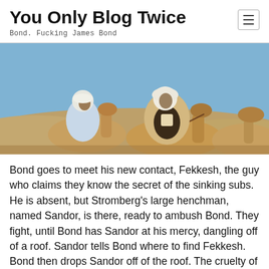You Only Blog Twice
Bond. Fucking James Bond
[Figure (photo): Two men in traditional Middle Eastern clothing riding camels in a desert landscape with sand dunes in the background.]
Bond goes to meet his new contact, Fekkesh, the guy who claims they know the secret of the sinking subs. He is absent, but Stromberg's large henchman, named Sandor, is there, ready to ambush Bond. They fight, until Bond has Sandor at his mercy, dangling off of a roof. Sandor tells Bond where to find Fekkesh. Bond then drops Sandor off of the roof. The cruelty of the murder would have seemed perfectly natural had Connery done it, but coming from